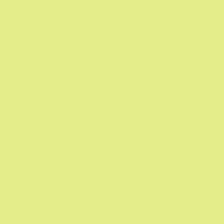contract was not renewed. Was she "fired" for daring to bring God into research? - No. She was hired to teach Cell Biology, and she decided to ignore the schools' curriculum and substitute her own curriculum.
Guillermo Gonzalez "expelled"? - No.
He was not granted tenure. The film doesn't bring up the fact that in all his years at ISU he had only brought in only a miniscule amount of grant money. Nor does it bring up the fact that in all his years at ISU he failed to mentor a single student through to their PhD. Nor does it mention that in his career at ISU, his